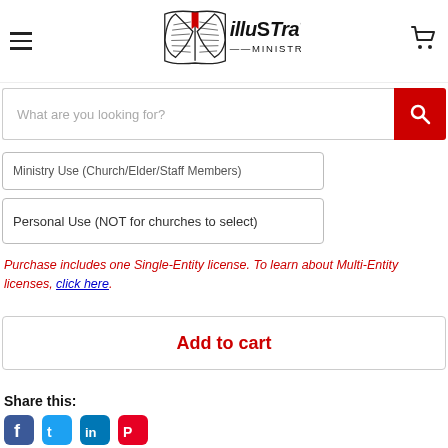Illustrated Ministry — navigation header with hamburger menu, logo, and cart icon
What are you looking for?
Ministry Use (Church/Elder/Staff Members)
Personal Use (NOT for churches to select)
Purchase includes one Single-Entity license. To learn about Multi-Entity licenses, click here.
Add to cart
Share this: